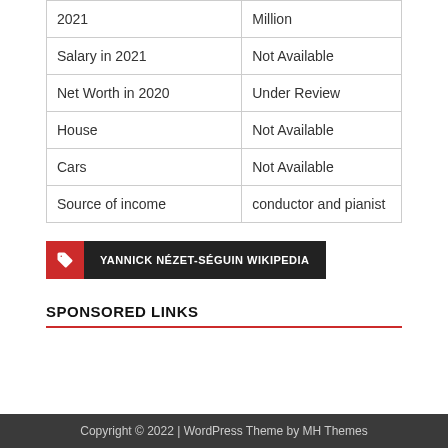| 2021 | Million |
| Salary in 2021 | Not Available |
| Net Worth in 2020 | Under Review |
| House | Not Available |
| Cars | Not Available |
| Source of income | conductor and pianist |
YANNICK NÉZET-SÉGUIN WIKIPEDIA
SPONSORED LINKS
Copyright © 2022 | WordPress Theme by MH Themes